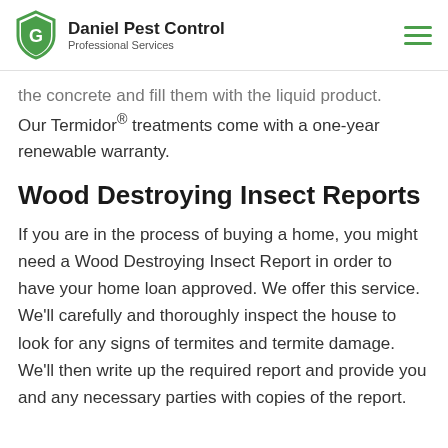Daniel Pest Control Professional Services
the concrete and fill them with the liquid product. Our Termidor® treatments come with a one-year renewable warranty.
Wood Destroying Insect Reports
If you are in the process of buying a home, you might need a Wood Destroying Insect Report in order to have your home loan approved. We offer this service. We'll carefully and thoroughly inspect the house to look for any signs of termites and termite damage. We'll then write up the required report and provide you and any necessary parties with copies of the report.